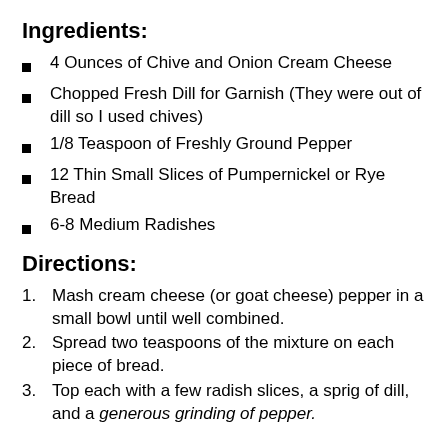Ingredients:
4 Ounces of Chive and Onion Cream Cheese
Chopped Fresh Dill for Garnish (They were out of dill so I used chives)
1/8 Teaspoon of Freshly Ground Pepper
12 Thin Small Slices of Pumpernickel or Rye Bread
6-8 Medium Radishes
Directions:
Mash cream cheese (or goat cheese) pepper in a small bowl until well combined.
Spread two teaspoons of the mixture on each piece of bread.
Top each with a few radish slices, a sprig of dill, and a generous grinding of pepper.